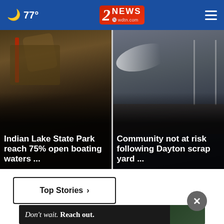🌙 77° | 2 NEWS wdtn.com
[Figure (photo): Machinery/excavator with cables and hydraulic arm - news story photo for Indian Lake State Park boating article]
Indian Lake State Park reach 75% open boating waters ...
[Figure (photo): Fire hose spraying water near a bridge structure - news story photo for Dayton scrap yard article]
Community not at risk following Dayton scrap yard ...
Top Stories ›
[Figure (photo): Advertisement banner showing person with text: Don't wait. Reach out.]